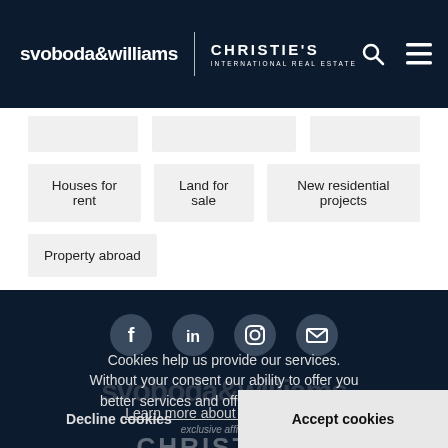svoboda&williams | CHRISTIE'S INTERNATIONAL REAL ESTATE
Houses for rent
Land for sale
New residential projects
Property abroad
[Figure (screenshot): Dark navy footer with social media icons (Facebook, LinkedIn, Instagram, Email) as circular grey buttons, svoboda&williams watermark text, exclusive affiliate of Christie's International Real Estate branding, and a cookie consent overlay with Decline cookies and Accept cookies buttons]
Cookies help us provide our services. Without your consent our ability to offer you better services and offers will be limited.
Learn more about cookies here.
Decline cookies
Accept cookies